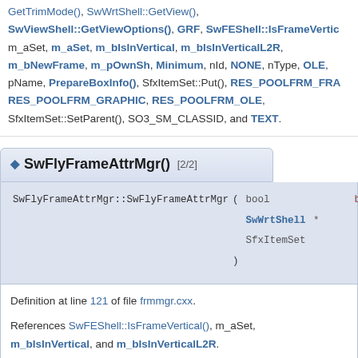GetTrimMode(), SwWrtShell::GetView(), SwViewShell::GetViewOptions(), GRF, SwFEShell::IsFrameVertical(), m_aSet, m_aSet, m_bIsInVertical, m_bIsInVerticalL2R, m_bNewFrame, m_pOwnSh, Minimum, nId, NONE, nType, OLE, pName, PrepareBoxInfo(), SfxItemSet::Put(), RES_POOLFRM_FRA, RES_POOLFRM_GRAPHIC, RES_POOLFRM_OLE, SfxItemSet::SetParent(), SO3_SM_CLASSID, and TEXT.
SwFlyFrameAttrMgr() [2/2]
SwFlyFrameAttrMgr::SwFlyFrameAttrMgr ( bool bNew, SwWrtShell * pSh, SfxItemSet aSet )
Definition at line 121 of file frmmgr.cxx.
References SwFEShell::IsFrameVertical(), m_aSet, m_bIsInVertical, and m_bIsInVerticalL2R.